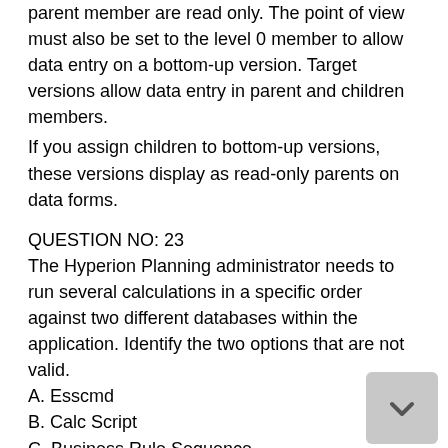parent member are read only. The point of view must also be set to the level 0 member to allow data entry on a bottom-up version. Target versions allow data entry in parent and children members.
If you assign children to bottom-up versions, these versions display as read-only parents on data forms.
QUESTION NO: 23
The Hyperion Planning administrator needs to run several calculations in a specific order against two different databases within the application. Identify the two options that are not valid.
A. Esscmd
B. Calc Script
C. Business Rule Sequence
D. MaxL
E. Business Rule Macro
Answer: A,D Explanation:
ESSCMD is the original command line interface for administration commands.